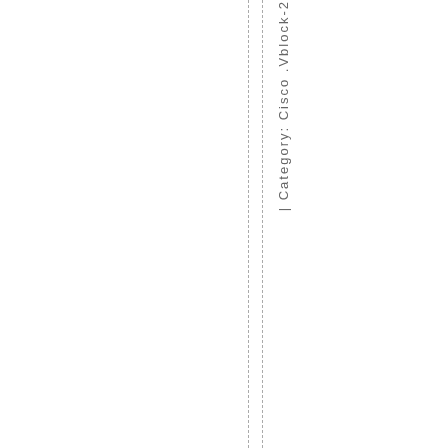| Category: Cisco .Vblock-2...